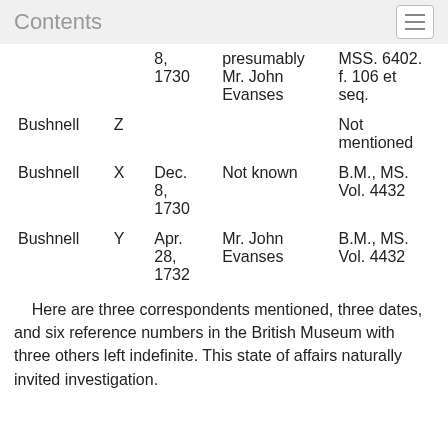Contents
|  |  | 8, 1730 | presumably Mr. John Evanses | MSS. 6402. f. 106 et seq. |
| Bushnell | Z |  |  | Not mentioned |
| Bushnell | X | Dec. 8, 1730 | Not known | B.M., MS. Vol. 4432 |
| Bushnell | Y | Apr. 28, 1732 | Mr. John Evanses | B.M., MS. Vol. 4432 |
Here are three correspondents mentioned, three dates, and six reference numbers in the British Museum with three others left indefinite. This state of affairs naturally invited investigation.